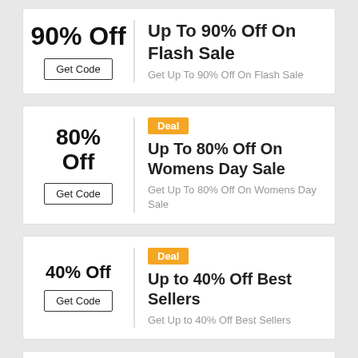90% Off – Get Code – Up To 90% Off On Flash Sale – Get Up To 90% Off On Flash Sale
80% Off – Deal – Get Code – Up To 80% Off On Womens Day Sale – Get Up To 80% Off On Womens Day Sale
40% Off – Deal – Get Code – Up to 40% Off Best Sellers – Get Up to 40% Off Best Sellers
Deal (partial card)